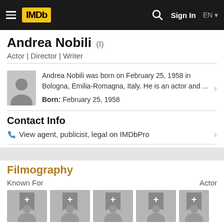IMDb navigation bar with logo, search, Sign In, EN
Andrea Nobili (I)
Actor | Director | Writer
Andrea Nobili was born on February 25, 1958 in Bologna, Emilia-Romagna, Italy. He is an actor and ... Born: February 25, 1958
Contact Info
View agent, publicist, legal on IMDbPro
Filmography
Known For
Actor